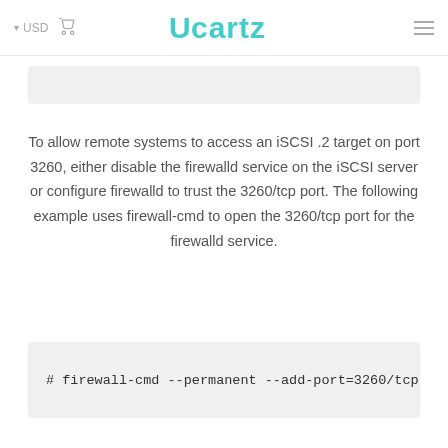USD | Ucartz
[Figure (screenshot): Partial gray code block from previous page content]
To allow remote systems to access an iSCSI .2 target on port 3260, either disable the firewalld service on the iSCSI server or configure firewalld to trust the 3260/tcp port. The following example uses firewall-cmd to open the 3260/tcp port for the firewalld service.
# firewall-cmd --permanent --add-port=3260/tcp